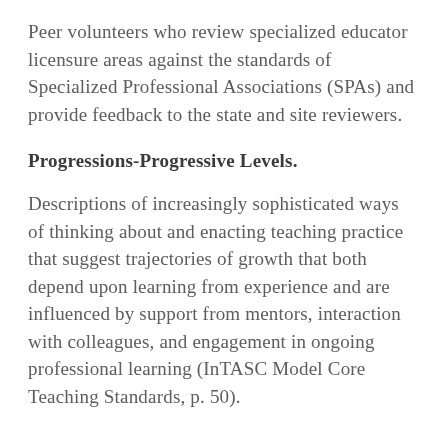Peer volunteers who review specialized educator licensure areas against the standards of Specialized Professional Associations (SPAs) and provide feedback to the state and site reviewers.
Progressions-Progressive Levels.
Descriptions of increasingly sophisticated ways of thinking about and enacting teaching practice that suggest trajectories of growth that both depend upon learning from experience and are influenced by support from mentors, interaction with colleagues, and engagement in ongoing professional learning (InTASC Model Core Teaching Standards, p. 50).